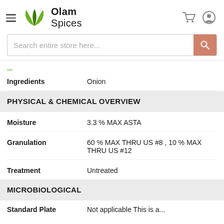Olam Spices
Search entire store here...
Ingredients   Onion
PHYSICAL & CHEMICAL OVERVIEW
Moisture   3.3 % MAX ASTA
Granulation   60 % MAX THRU US #8 , 10 % MAX THRU US #12
Treatment   Untreated
MICROBIOLOGICAL
Standard Plate...